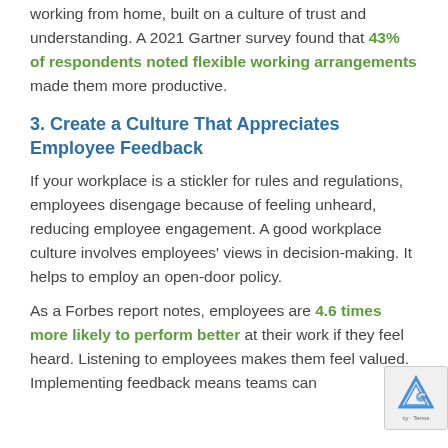working from home, built on a culture of trust and understanding. A 2021 Gartner survey found that 43% of respondents noted flexible working arrangements made them more productive.
3. Create a Culture That Appreciates Employee Feedback
If your workplace is a stickler for rules and regulations, employees disengage because of feeling unheard, reducing employee engagement. A good workplace culture involves employees' views in decision-making. It helps to employ an open-door policy.
As a Forbes report notes, employees are 4.6 times more likely to perform better at their work if they feel heard. Listening to employees makes them feel valued. Implementing feedback means teams can